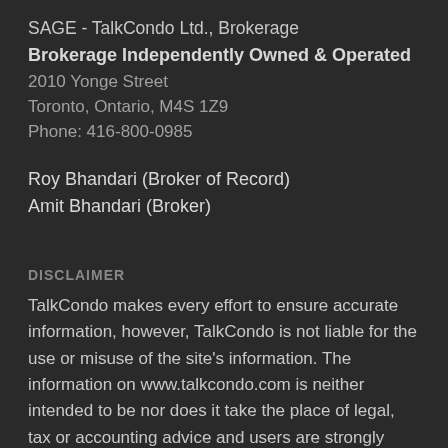SAGE - TalkCondo Ltd., Brokerage
Brokerage Independently Owned & Operated
2010 Yonge Street
Toronto, Ontario, M4S 1Z9
Phone: 416-800-0985
Roy Bhandari (Broker of Record)
Amit Bhandari (Broker)
DISCLAIMER
TalkCondo makes every effort to ensure accurate information, however, TalkCondo is not liable for the use or misuse of the site's information. The information on www.talkcondo.com is neither intended to be nor does it take the place of legal, tax or accounting advice and users are strongly recommended to obtain independent